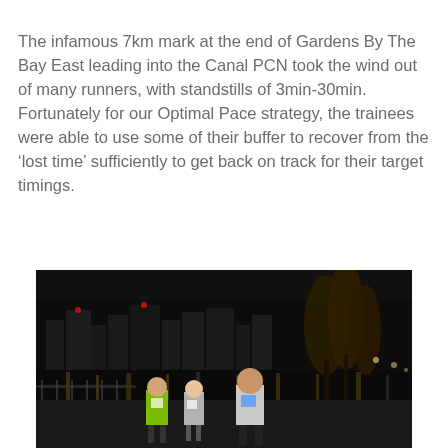The infamous 7km mark at the end of Gardens By The Bay East leading into the Canal PCN took the wind out of many runners, with standstills of 3min-30min. Fortunately for our Optimal Pace strategy, the trainees were able to use some of their buffer to recover from the ‘lost time’ sufficiently to get back on track for their target timings.
[Figure (photo): Night photo of runners in a marathon race along a tree-lined path, with city skyline and lights reflecting on water in the background. Three runners are visible in the foreground wearing race bibs.]